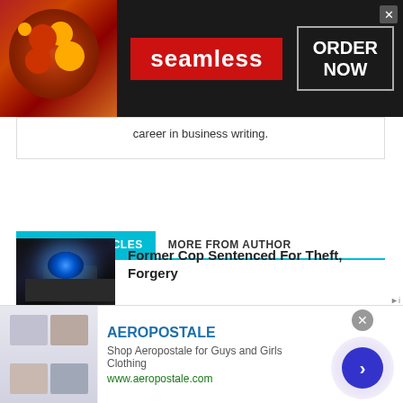[Figure (screenshot): Seamless food delivery advertisement banner with pizza image, Seamless logo in red, and ORDER NOW button]
career in business writing.
RELATED ARTICLES   MORE FROM AUTHOR
[Figure (photo): Police car with blue emergency light at night]
Former Cop Sentenced For Theft, Forgery
[Figure (photo): Outdoor crowd scene with trees and blue tents]
Junior Cadet Graduation Kicks Off Howell's Night Out
[Figure (screenshot): Aeropostale advertisement with clothing images, brand name, description and website URL]